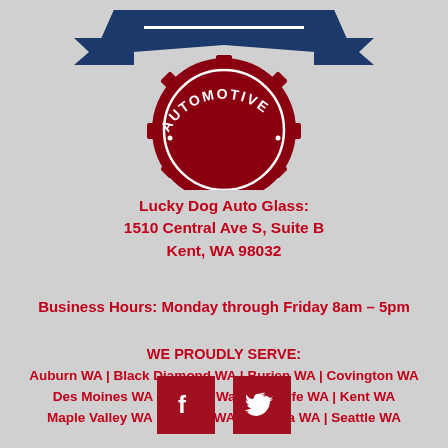[Figure (logo): Lucky Dog Automotive logo - gear/badge shape in dark red with navy blue banner, text reads AUTOMOTIVE]
Lucky Dog Auto Glass:
1510 Central Ave S, Suite B
Kent, WA 98032
Business Hours: Monday through Friday 8am – 5pm
WE PROUDLY SERVE:
Auburn WA | Black Diamond WA | Burien WA | Covington WA
Des Moines WA | Federal Way WA | Fife WA | Kent WA
Maple Valley WA | Renton WA | Tukwila WA | Seattle WA
[Figure (illustration): Facebook and Twitter social media icons in dark red square buttons]